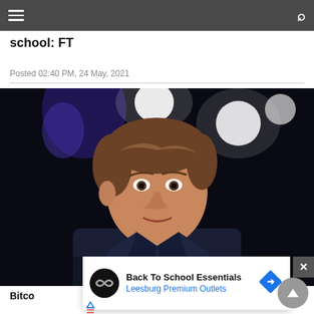Navigation bar with hamburger menu and search icon
school: FT
Posted 02:40 PM, 24 May, 2021
[Figure (photo): Close-up photo of Elon Musk against a dark background with blue and white stage lights]
Bitco
Posted
[Figure (infographic): Advertisement overlay: Back To School Essentials - Leesburg Premium Outlets, with circular logo and navigation arrow icon]